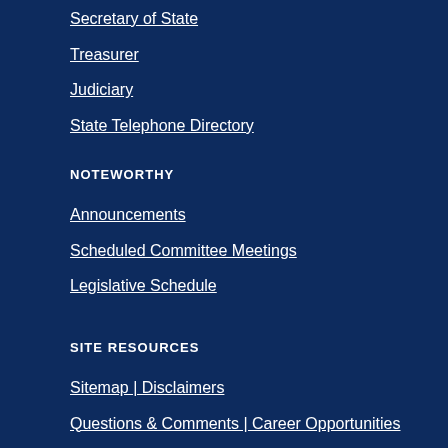Secretary of State
Treasurer
Judiciary
State Telephone Directory
NOTEWORTHY
Announcements
Scheduled Committee Meetings
Legislative Schedule
SITE RESOURCES
Sitemap | Disclaimers
Questions & Comments | Career Opportunities
Requests for Proposals | Accessibility